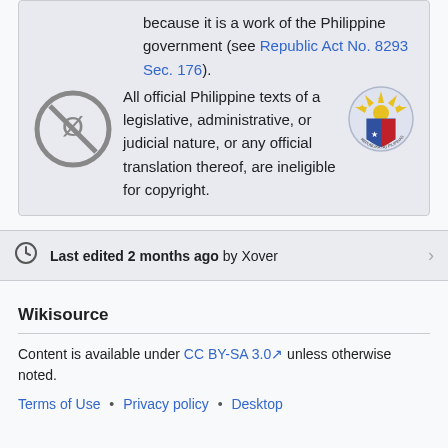because it is a work of the Philippine government (see Republic Act No. 8293 Sec. 176). All official Philippine texts of a legislative, administrative, or judicial nature, or any official translation thereof, are ineligible for copyright.
Last edited 2 months ago by Xover
Wikisource
Content is available under CC BY-SA 3.0 unless otherwise noted.
Terms of Use · Privacy policy · Desktop